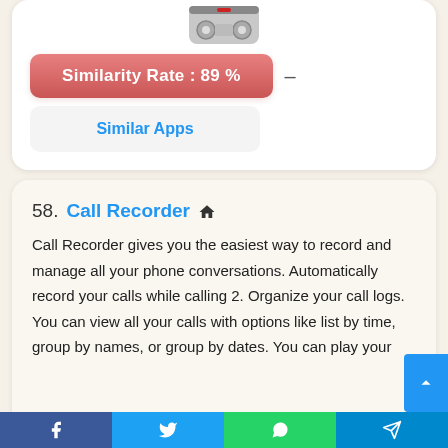[Figure (infographic): App icon showing a reel/cassette tape icon with a red stripe at the top of the card]
Similarity Rate : 89 %
Similar Apps
58. Call Recorder — Call Recorder gives you the easiest way to record and manage all your phone conversations. Automatically record your calls while calling 2. Organize your call logs. You can view all your calls with options like list by time, group by names, or group by dates. You can play your
[Figure (infographic): Social media share bar at the bottom with Facebook, Twitter, WhatsApp, and Telegram icons]